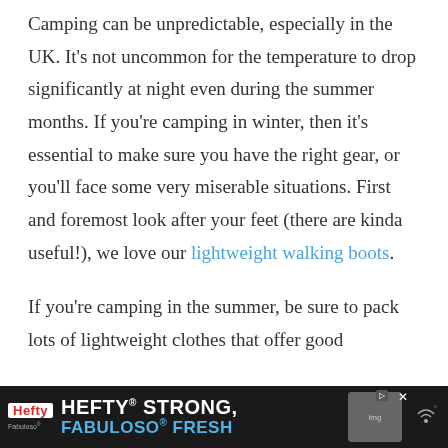Camping can be unpredictable, especially in the UK. It's not uncommon for the temperature to drop significantly at night even during the summer months. If you're camping in winter, then it's essential to make sure you have the right gear, or you'll face some very miserable situations. First and foremost look after your feet (there are kinda useful!), we love our lightweight walking boots.
If you're camping in the summer, be sure to pack lots of lightweight clothes that offer good
[Figure (other): Advertisement banner: Hefty Strong, Fabuloso Fresh product ad with dark background]